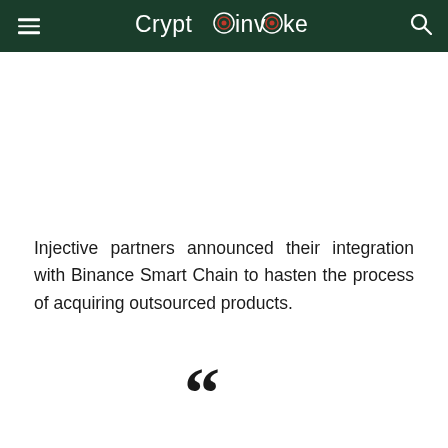Cryptoinvoke
Injective partners announced their integration with Binance Smart Chain to hasten the process of acquiring outsourced products.
[Figure (illustration): Large open quotation mark symbol (““) in dark color, centered at bottom of page]